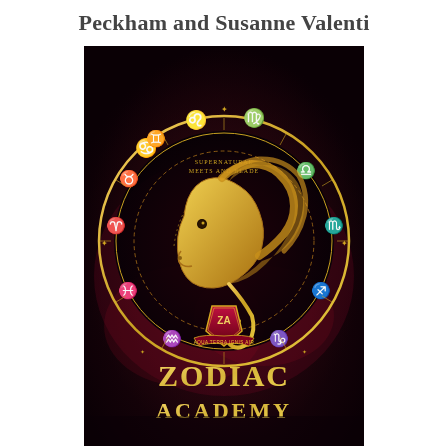Peckham and Susanne Valenti
[Figure (illustration): Book cover for 'Zodiac Academy' by Peckham and Susanne Valenti. Dark background with a golden zodiac wheel showing astrological symbols. A golden lion head in profile dominates the center. Below the lion is a crimson shield with 'ZA' initials and a banner reading 'AQUA TERRA IGNIS AIR'. The title 'ZODIAC ACADEMY' is written in large gold letters at the bottom.]